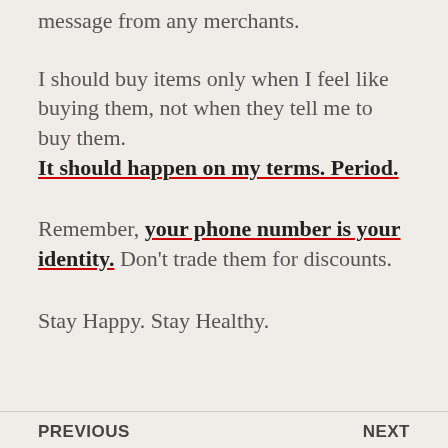message from any merchants.
I should buy items only when I feel like buying them, not when they tell me to buy them. It should happen on my terms. Period.
Remember, your phone number is your identity. Don't trade them for discounts.
Stay Happy. Stay Healthy.
PREVIOUS    NEXT